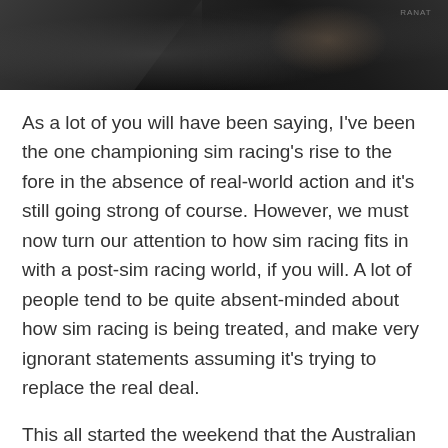[Figure (photo): Dark photograph showing people, likely in a motorsport or esports studio setting, with dim lighting and partial silhouettes visible.]
As a lot of you will have been saying, I've been the one championing sim racing's rise to the fore in the absence of real-world action and it's still going strong of course. However, we must now turn our attention to how sim racing fits in with a post-sim racing world, if you will. A lot of people tend to be quite absent-minded about how sim racing is being treated, and make very ignorant statements assuming it's trying to replace the real deal.
This all started the weekend that the Australian GP was cancelled. We had The Race with their All-Star event and Veloce Esports hosting their first rendition of the